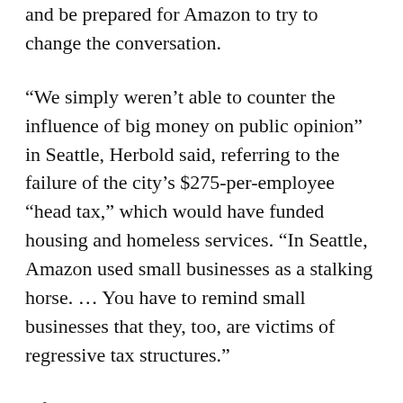and be prepared for Amazon to try to change the conversation.
“We simply weren’t able to counter the influence of big money on public opinion” in Seattle, Herbold said, referring to the failure of the city’s $275-per-employee “head tax,” which would have funded housing and homeless services. “In Seattle, Amazon used small businesses as a stalking horse. … You have to remind small businesses that they, too, are victims of regressive tax structures.”
After telling Seattle leaders  they would support a scaled back “compromise” version of the tax, Amazon helped fund the “No Tax on Jobs” campaign, which planned to run a referendum to overturn the measure. Eventually, the council voted to overturn